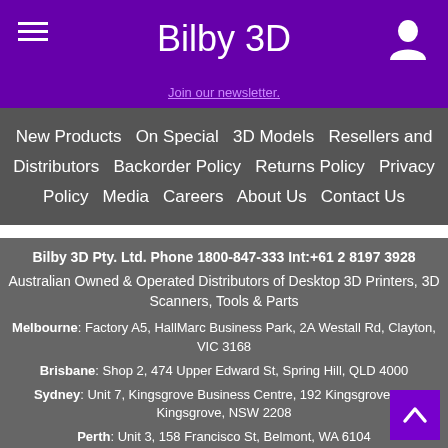Bilby 3D
Join our newsletter.
New Products  On Special  3D Models  Resellers and Distributors  Backorder Policy  Returns Policy  Privacy Policy  Media  Careers  About Us  Contact Us
Bilby 3D Pty. Ltd. Phone 1800-847-333 Int:+61 2 8197 3928
Australian Owned & Operated Distributors of Desktop 3D Printers, 3D Scanners, Tools & Parts
Melbourne: Factory A5, HallMarc Business Park, 2A Westall Rd, Clayton, VIC 3168
Brisbane: Shop 2, 474 Upper Edward St, Spring Hill, QLD 4000
Sydney: Unit 7, Kingsgrove Business Centre, 192 Kingsgrove Rd, Kingsgrove, NSW 2208
Perth: Unit 3, 158 Francisco St, Belmont, WA 6104